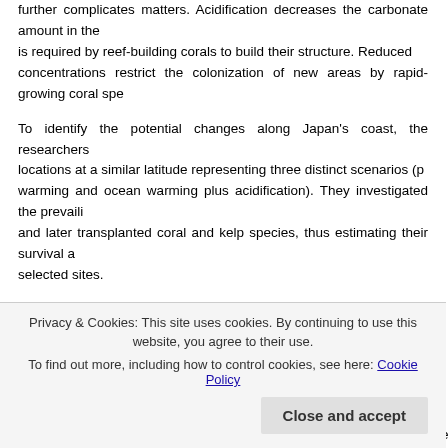further complicates matters. Acidification decreases the carbonate amount in the water, which is required by reef-building corals to build their structure. Reduced carbonate concentrations restrict the colonization of new areas by rapid-growing coral species.
To identify the potential changes along Japan's coast, the researchers selected three locations at a similar latitude representing three distinct scenarios (present state, warming and ocean warming plus acidification). They investigated the prevailing communities and later transplanted coral and kelp species, thus estimating their survival and growth at the selected sites.
The researchers discovered that with both acidification and ocean warming, temperate ecosystems possibly lose kelp forests but may not gain reef-building corals. The result is a simplified turf-dominated habitat.
According to Dr. Ben Harvey, "Warmer waters facilitate the growth and colonization of reef-building corals. But ocean acidification appears to negate these benefits. And a …"
Privacy & Cookies: This site uses cookies. By continuing to use this website, you agree to their use.
To find out more, including how to control cookies, see here: Cookie Policy
Related Reference
Harvey, B. P., et al. (2021) Ocean acidification locks algal communities in a spe…